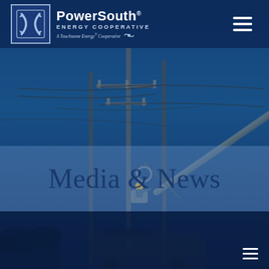[Figure (photo): Aerial/bucket truck worker on electric utility power poles against a blue sky background, with power lines and transmission towers visible. The scene is tinted with a dark blue overlay. PowerSouth Energy Cooperative branding page for Media & News section.]
PowerSouth® Energy Cooperative — A Touchstone Energy® Cooperative
Media & News